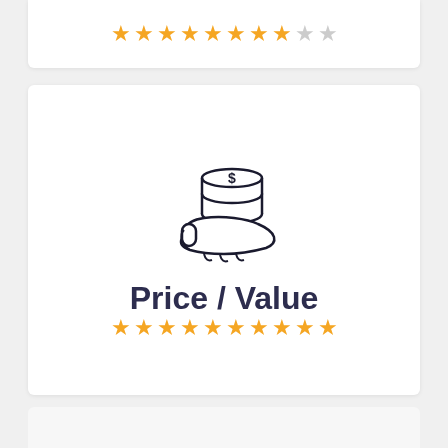[Figure (illustration): Partial star rating row at top of page, showing approximately 8.5 out of 10 stars filled in orange, remaining stars in grey]
[Figure (illustration): Line-art icon of a hand holding a stack of coins with a dollar sign, representing price or value]
Price / Value
[Figure (illustration): Star rating row showing 10 out of 10 stars filled in orange, representing full score for Price/Value]